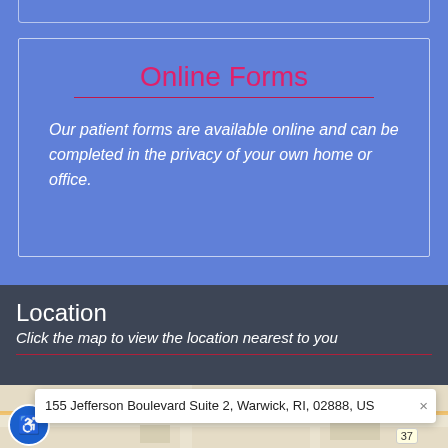Online Forms
Our patient forms are available online and can be completed in the privacy of your own home or office.
Location
Click the map to view the location nearest to you
[Figure (map): Google Maps embed showing location near Warwick, RI with accessibility icon and address popup showing 155 Jefferson Boulevard Suite 2, Warwick, RI, 02888, US]
155 Jefferson Boulevard Suite 2, Warwick, RI, 02888, US